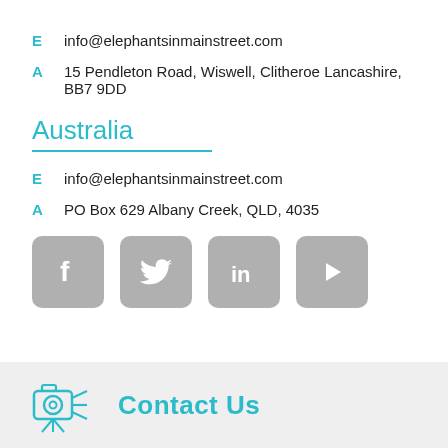E  info@elephantsinmainstreet.com
A  15 Pendleton Road, Wiswell, Clitheroe Lancashire, BB7 9DD
Australia
E  info@elephantsinmainstreet.com
A  PO Box 629 Albany Creek, QLD, 4035
[Figure (illustration): Four social media icon buttons (Facebook, Twitter, LinkedIn, YouTube/Play) in grey rounded square style]
[Figure (illustration): Grey footer band with a camera/projector icon and partial 'Contact Us' heading in teal]